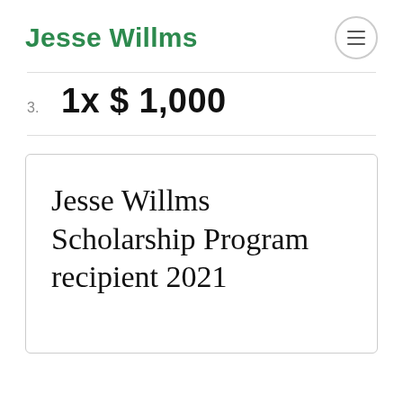Jesse Willms
1x $ 1,000
Jesse Willms Scholarship Program recipient 2021